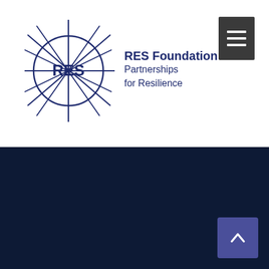[Figure (logo): RES Foundation logo with interconnected star/circle graphic and text 'RES Foundation Partnerships for Resilience']
[Figure (other): Dark navy blue background section filling the lower portion of the page]
[Figure (other): Scroll-to-top button with upward chevron arrow in bottom-right corner]